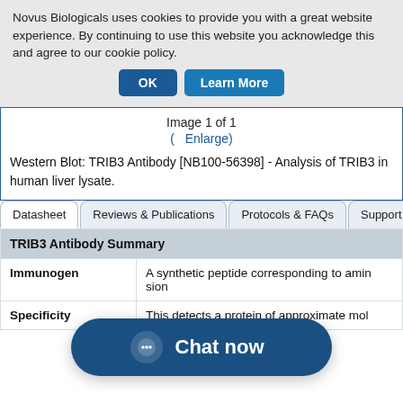Novus Biologicals uses cookies to provide you with a great website experience. By continuing to use this website you acknowledge this and agree to our cookie policy.
OK   Learn More
Image 1 of 1
( Enlarge)
Western Blot: TRIB3 Antibody [NB100-56398] - Analysis of TRIB3 in human liver lysate.
Datasheet | Reviews & Publications | Protocols & FAQs | Support & Rese...
| Field | Value |
| --- | --- |
| TRIB3 Antibody Summary |  |
| Immunogen | A synthetic peptide corresponding to ami... ...sion |
| Specificity | This detects a protein of approximate mol |
Chat now